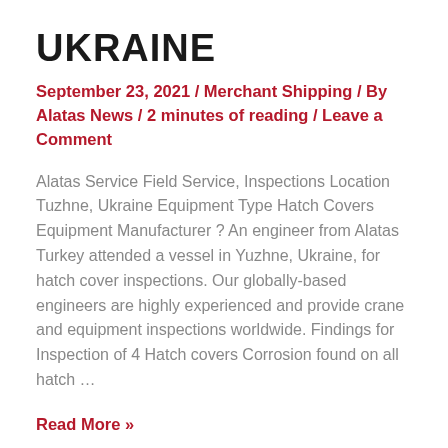UKRAINE
September 23, 2021 / Merchant Shipping / By Alatas News / 2 minutes of reading / Leave a Comment
Alatas Service Field Service, Inspections Location Tuzhne, Ukraine Equipment Type Hatch Covers Equipment Manufacturer ? An engineer from Alatas Turkey attended a vessel in Yuzhne, Ukraine, for hatch cover inspections. Our globally-based engineers are highly experienced and provide crane and equipment inspections worldwide. Findings for Inspection of 4 Hatch covers Corrosion found on all hatch …
Read More »